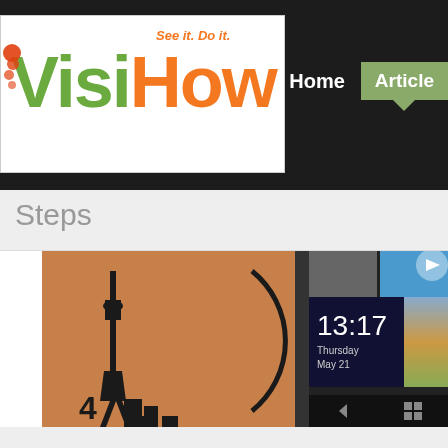[Figure (logo): VisiHow logo with tagline 'See it. Do it.' - Visi in green, How in orange]
Home  Articles
Steps
[Figure (screenshot): Screenshot showing a phone lock screen with time 13:17, Thursday May 21, alongside a warm-toned background image with CN Tower silhouette]